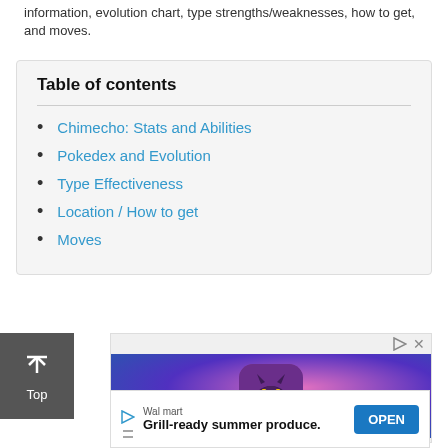information, evolution chart, type strengths/weaknesses, how to get, and moves.
Table of contents
Chimecho: Stats and Abilities
Pokedex and Evolution
Type Effectiveness
Location / How to get
Moves
[Figure (screenshot): Advertisement showing a game app with a cat character against a colorful background]
[Figure (screenshot): Walmart advertisement banner: Grill-ready summer produce. with OPEN button]